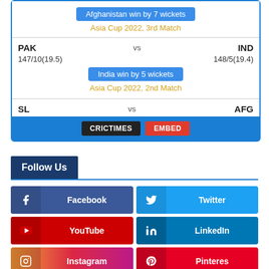[Figure (infographic): Cricket scores widget showing Asia Cup 2022 match results. PAK vs IND: 147/10(19.5) vs 148/5(19.4), India win by 5 wickets, Asia Cup 2022 2nd Match. Partial row showing SL vs AFG. Bottom bar with CRICTIMES and EMBED buttons.]
Follow Us
Facebook
Twitter
YouTube
LinkedIn
Instagram
Pinteres